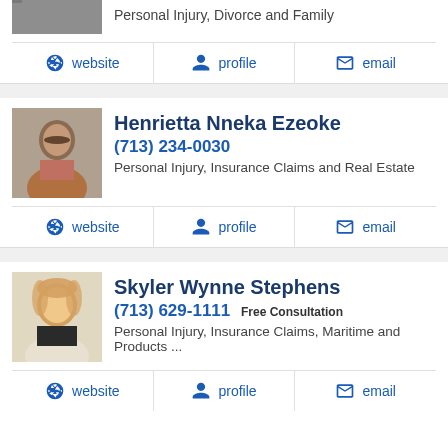Personal Injury, Divorce and Family
website  profile  email
Henrietta Nneka Ezeoke
(713) 234-0030
Personal Injury, Insurance Claims and Real Estate
website  profile  email
Skyler Wynne Stephens
(713) 629-1111  Free Consultation
Personal Injury, Insurance Claims, Maritime and Products ...
website  profile  email